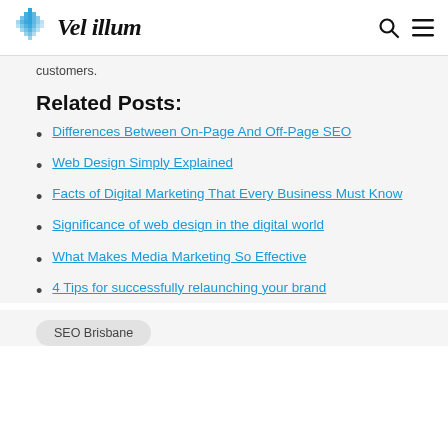Vel illum
customers.
Related Posts:
Differences Between On-Page And Off-Page SEO
Web Design Simply Explained
Facts of Digital Marketing That Every Business Must Know
Significance of web design in the digital world
What Makes Media Marketing So Effective
4 Tips for successfully relaunching your brand
SEO Brisbane